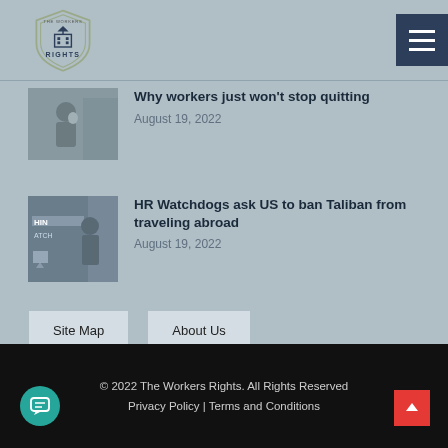[Figure (logo): The Workers Rights shield logo with text RIGHTS]
Why workers just won't stop quitting
August 19, 2022
HR Watchdogs ask US to ban Taliban from traveling abroad
August 19, 2022
Site Map   About Us
© 2022 The Workers Rights. All Rights Reserved
Privacy Policy | Terms and Conditions